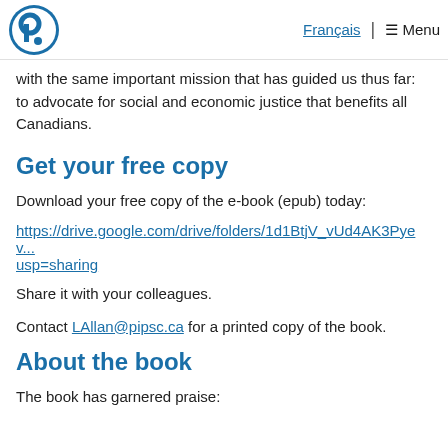PIPSC logo | Français | Menu
with the same important mission that has guided us thus far: to advocate for social and economic justice that benefits all Canadians.
Get your free copy
Download your free copy of the e-book (epub) today:
https://drive.google.com/drive/folders/1d1BtjV_vUd4AK3Pyev...usp=sharing
Share it with your colleagues.
Contact LAllan@pipsc.ca for a printed copy of the book.
About the book
The book has garnered praise: